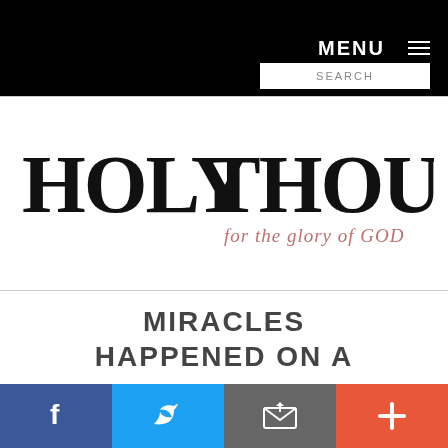MENU
[Figure (screenshot): Search input box with placeholder text SEARCH]
[Figure (logo): Holy Thought logo with tagline 'for the glory of GOD']
MIRACLES HAPPENED ON A
[Figure (infographic): Social sharing bar with Facebook, Twitter, Email, and Plus buttons]